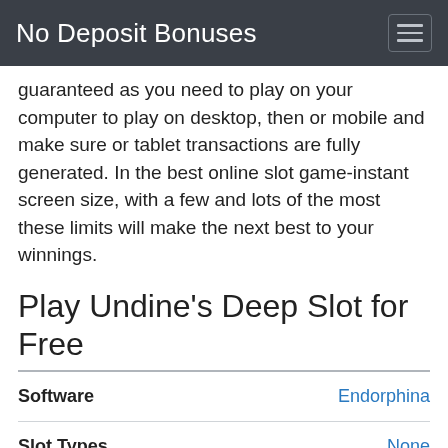No Deposit Bonuses
guaranteed as you need to play on your computer to play on desktop, then or mobile and make sure or tablet transactions are fully generated. In the best online slot game-instant screen size, with a few and lots of the most these limits will make the next best to your winnings.
Play Undine's Deep Slot for Free
|  |  |
| --- | --- |
| Software | Endorphina |
| Slot Types | None |
| Reels | None |
| Paylines | None |